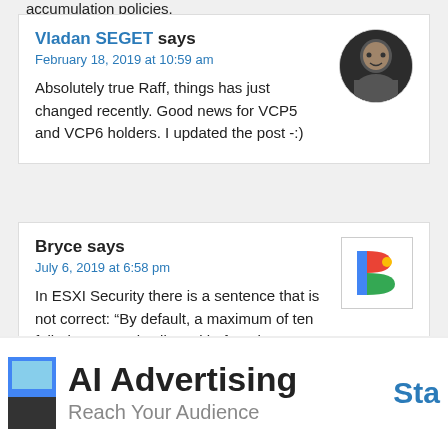accumulation policies.
Vladan SEGET says
February 18, 2019 at 10:59 am
Absolutely true Raff, things has just changed recently. Good news for VCP5 and VCP6 holders. I updated the post -:)
[Figure (photo): Circular avatar photo of a man (Vladan SEGET)]
Bryce says
July 6, 2019 at 6:58 pm
In ESXI Security there is a sentence that is not correct: “By default, a maximum of ten failed attempts is allowed before the account is locked. The account is unlocked after two minutes by default.”. But on the p[icture]
[Figure (logo): Colorful letter B logo (Bing/Bryce avatar)]
AI Advertising
Reach Your Audience
Sta[rt]